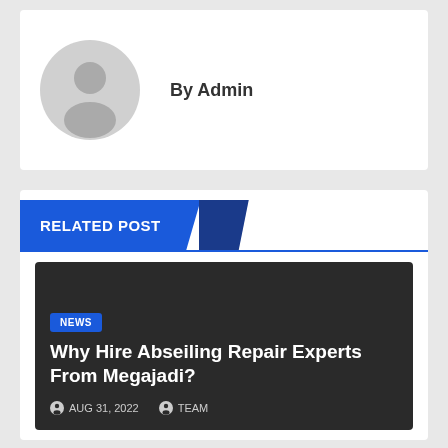[Figure (illustration): Gray silhouette avatar/profile icon placeholder]
By Admin
RELATED POST
[Figure (photo): Dark background article card image]
NEWS
Why Hire Abseiling Repair Experts From Megajadi?
AUG 31, 2022   TEAM